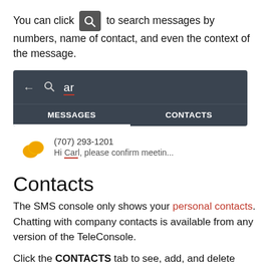You can click [search icon] to search messages by numbers, name of contact, and even the context of the message.
[Figure (screenshot): Mobile app screenshot showing search interface with a dark header bar containing a back arrow, search icon, and 'ar' query text with red underline. Below are two tabs: MESSAGES (active, with white underline) and CONTACTS. Below shows a message result with an orange chat bubble icon, phone number (707) 293-1201, and preview text 'Hi Carl, please confirm meetin...' with 'Carl' underlined in red.]
Contacts
The SMS console only shows your personal contacts. Chatting with company contacts is available from any version of the TeleConsole.
Click the CONTACTS tab to see, add, and delete